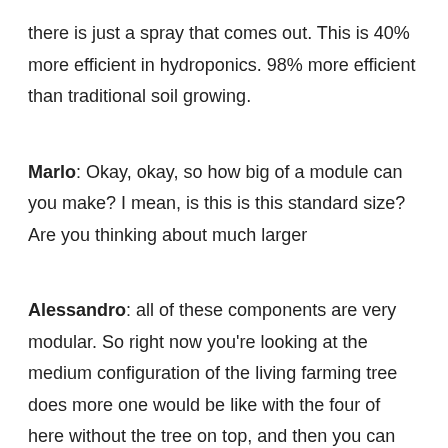there is just a spray that comes out. This is 40% more efficient in hydroponics. 98% more efficient than traditional soil growing.
Marlo: Okay, okay, so how big of a module can you make? I mean, is this is this standard size? Are you thinking about much larger
Alessandro: all of these components are very modular. So right now you're looking at the medium configuration of the living farming tree does more one would be like with the four of here without the tree on top, and then you can make it even bigger.